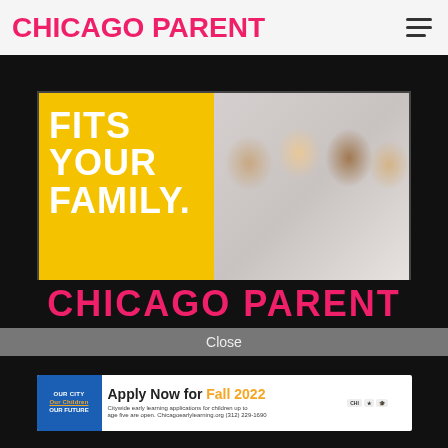CHICAGO PARENT
[Figure (illustration): Advertisement banner: yellow section with text FITS YOUR FAMILY., photo of children on red background, blue strip, black bar with Know Your Options text and arrow]
CHICAGO PARENT
Close
[Figure (illustration): Advertisement for Chicago Early Learning: OUR CITY Our Children OUR FUTURE | Apply Now for Fall 2022 | Citywide early learning applications for children up to age five are open. Chicagoearlylearning.org (312) 229-1690 | with logos]